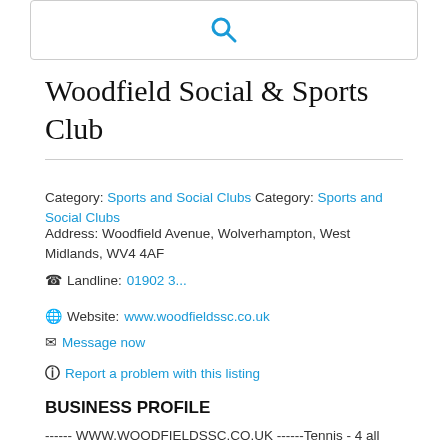[Figure (other): Search box with blue magnifying glass icon]
Woodfield Social & Sports Club
Category: Sports and Social Clubs Category: Sports and Social Clubs
Address: Woodfield Avenue, Wolverhampton, West Midlands, WV4 4AF
Landline: 01902 3...
Website: www.woodfieldssc.co.uk
Message now
Report a problem with this listing
BUSINESS PROFILE
------ WWW.WOODFIELDSSC.CO.UK ------Tennis - 4 all